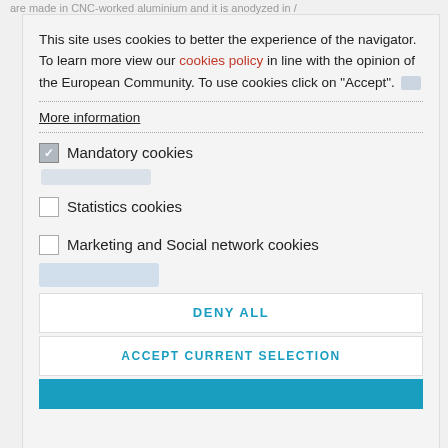are made in CNC-worked aluminium and it is anodyzed in /
This site uses cookies to better the experience of the navigator. To learn more view our cookies policy in line with the opinion of the European Community. To use cookies click on "Accept".
More information
Mandatory cookies
Statistics cookies
Marketing and Social network cookies
DENY ALL
ACCEPT CURRENT SELECTION